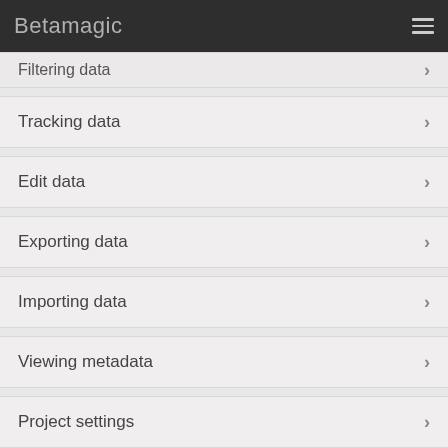Betamagic
Filtering data
Tracking data
Edit data
Exporting data
Importing data
Viewing metadata
Project settings
Preferences